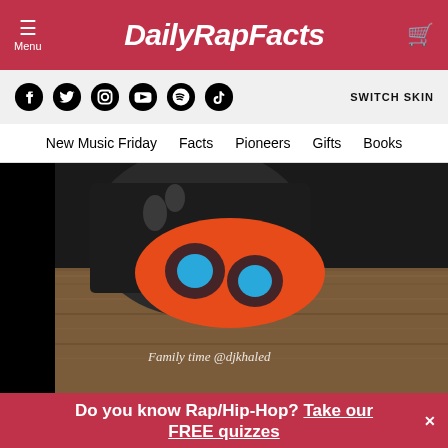Menu | DailyRapFacts
[Figure (screenshot): Social media icons: Facebook, Twitter, Instagram, YouTube, Spotify, TikTok, and SWITCH SKIN text on gray bar]
New Music Friday  Facts  Pioneers  Gifts  Books
[Figure (photo): Video screenshot showing people at a table with colorful bags and shoes, with overlay text 'Family time @djkhaled']
Do you know Rap/Hip-Hop? Take our FREE quizzes